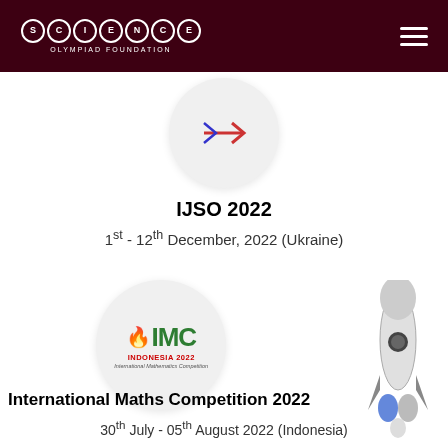SCIENCE OLYMPIAD FOUNDATION
[Figure (logo): IJSO 2022 logo in a circular grey background with arrows icon]
IJSO 2022
1st - 12th December, 2022 (Ukraine)
[Figure (logo): IMC Indonesia 2022 International Mathematics Competition logo in a circular grey background]
[Figure (illustration): Rocket illustration on the right side]
International Maths Competition 2022
30th July - 05th August 2022 (Indonesia)